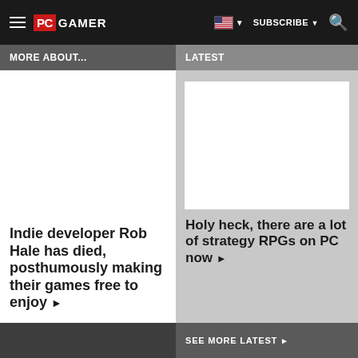PC GAMER | SUBSCRIBE | Search
MORE ABOUT...
LATEST
Indie developer Rob Hale has died, posthumously making their games free to enjoy ▶
[Figure (photo): Article thumbnail image placeholder (white rectangle)]
Holy heck, there are a lot of strategy RPGs on PC now ▶
SEE MORE LATEST ▶